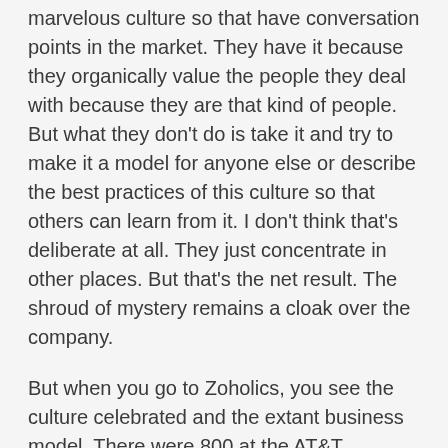marvelous culture so that have conversation points in the market. They have it because they organically value the people they deal with because they are that kind of people. But what they don't do is take it and try to make it a model for anyone else or describe the best practices of this culture so that others can learn from it. I don't think that's deliberate at all. They just concentrate in other places. But that's the net result. The shroud of mystery remains a cloak over the company.
But when you go to Zoholics, you see the culture celebrated and the extant business model. There were 800 at the AT&T Education and Conference Center in Austin, which is the most vibrant center of the many Zoho locations at this point. That was a number that they capped the attendance at, though they could have drawn more if circumstances were right. But the audience was a very engaged 800 people. They were involved with the